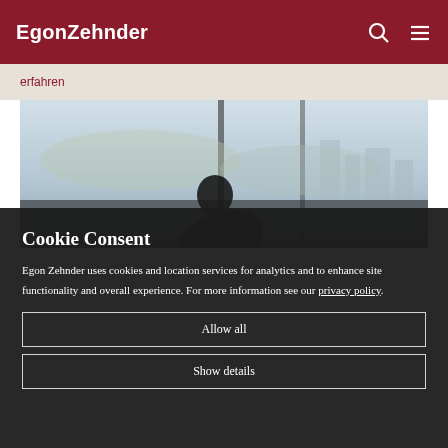EgonZehnder
erfahren
[Figure (photo): Person sitting near large windows with a city skyline in the background]
Cookie Consent
Egon Zehnder uses cookies and location services for analytics and to enhance site functionality and overall experience. For more information see our privacy policy.
Allow all
Show details